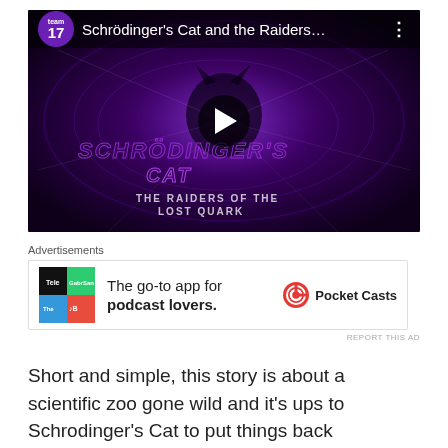[Figure (screenshot): YouTube-style video thumbnail for 'Schrödinger's Cat and the Raiders...' showing a purple glowing game logo with a cat silhouette. Team17 channel logo shown in top-left. Play button in center.]
Advertisements
[Figure (other): Advertisement for Pocket Casts podcast app. Shows a colorful quadrant logo icon. Text: 'The go-to app for podcast lovers.' with Pocket Casts logo on the right.]
Short and simple, this story is about a scientific zoo gone wild and it's ups to Schrodinger's Cat to put things back